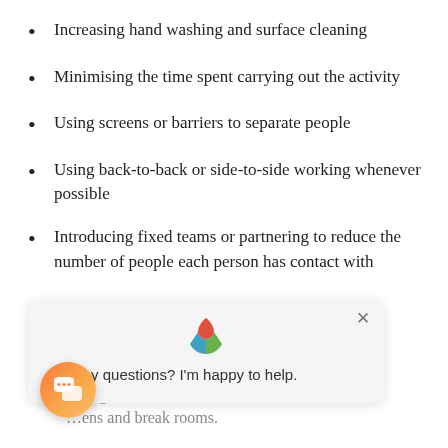Increasing hand washing and surface cleaning
Minimising the time spent carrying out the activity
Using screens or barriers to separate people
Using back-to-back or side-to-side working whenever possible
Introducing fixed teams or partnering to reduce the number of people each person has contact with
…working day, …ting from the site, …ens and break rooms.